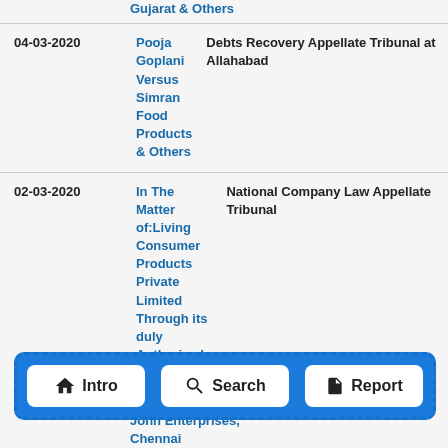| Date | Case | Court |
| --- | --- | --- |
| 04-03-2020 | Pooja Goplani Versus Simran Food Products & Others | Debts Recovery Appellate Tribunal at Allahabad |
| 02-03-2020 | In The Matter of:Living Consumer Products Private Limited Through its duly Authorized Signatory Jaideep Hotha Versus Play Games 24x7 Private Limited Through its duly Authorized Signatory Prabhu Vijayakumar | National Company Law Appellate Tribunal |
| 27-... | John Enterprises, Chennai |  |
[Figure (other): Navigation bar overlay with blue background and dashed border containing three white rounded buttons: Intro (home icon), Search (magnifying glass icon), Report (document icon)]